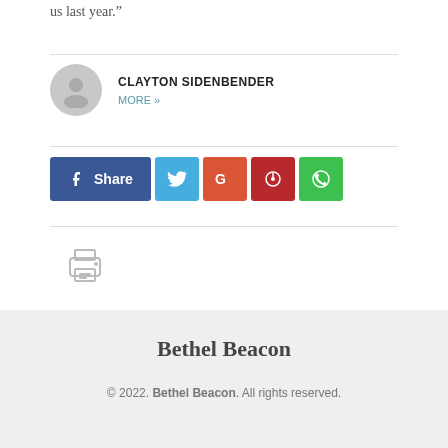us last year.”
CLAYTON SIDENBENDER
MORE »
[Figure (infographic): Social share buttons: Facebook Share, Twitter, Google+, Pinterest, WhatsApp]
[Figure (other): Printer icon]
Bethel Beacon
© 2022. Bethel Beacon. All rights reserved.